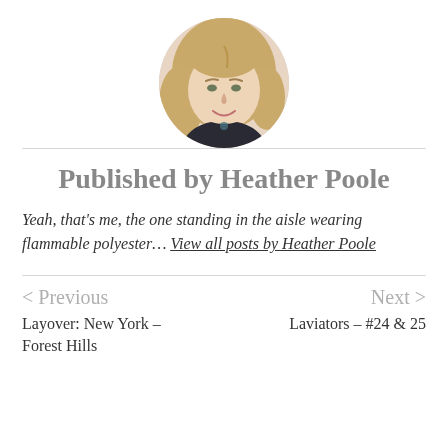[Figure (photo): Circular cropped headshot photo of Heather Poole, a woman with long blonde hair wearing a dark top, smiling]
Published by Heather Poole
Yeah, that's me, the one standing in the aisle wearing flammable polyester… View all posts by Heather Poole
< Previous
Layover: New York – Forest Hills
Next >
Laviators – #24 & 25